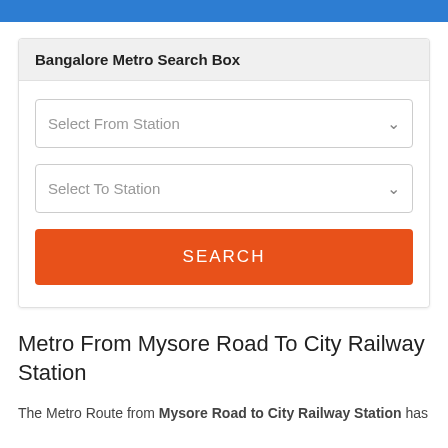Bangalore Metro Search Box
[Figure (screenshot): Search box UI with two dropdowns labeled 'Select From Station' and 'Select To Station', and an orange SEARCH button]
Metro From Mysore Road To City Railway Station
The Metro Route from Mysore Road to City Railway Station has